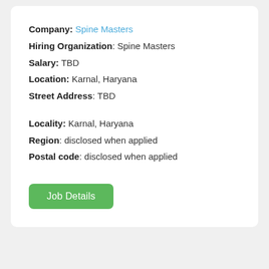Company: Spine Masters
Hiring Organization: Spine Masters
Salary: TBD
Location: Karnal, Haryana
Street Address: TBD
Locality: Karnal, Haryana
Region: disclosed when applied
Postal code: disclosed when applied
Job Details